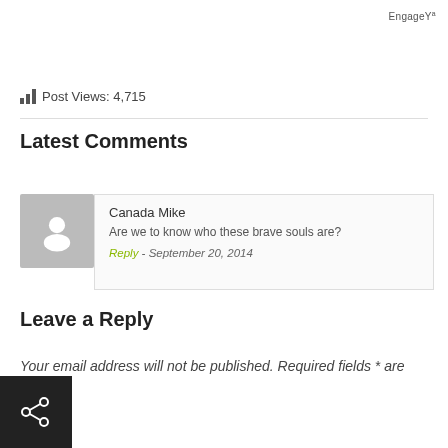EngageYa
Post Views: 4,715
Latest Comments
Canada Mike
Are we to know who these brave souls are?
Reply - September 20, 2014
Leave a Reply
Your email address will not be published. Required fields * are marked